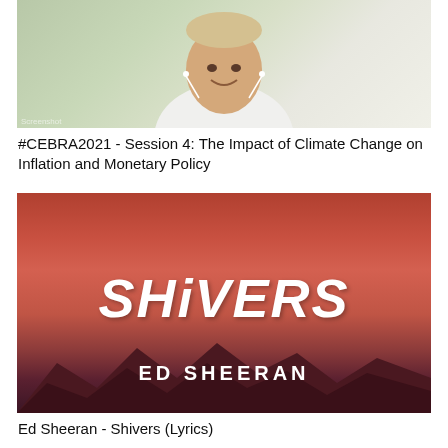[Figure (screenshot): Video thumbnail showing a smiling man in a white shirt on a video call, with a room background]
#CEBRA2021 - Session 4: The Impact of Climate Change on Inflation and Monetary Policy
[Figure (screenshot): Music single cover art for Ed Sheeran - Shivers, showing stylized white text on a red/orange gradient background with mountain silhouettes]
Ed Sheeran - Shivers (Lyrics)
[Figure (screenshot): Partial thumbnail showing turquoise/teal water, partially cut off at bottom of page]